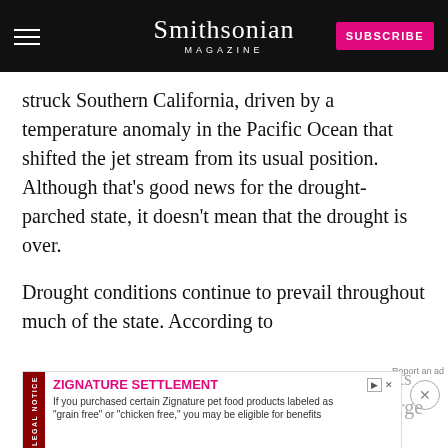Smithsonian MAGAZINE
struck Southern California, driven by a temperature anomaly in the Pacific Ocean that shifted the jet stream from its usual position. Although that's good news for the drought-parched state, it doesn't mean that the drought is over.
Drought conditions continue to prevail throughout much of the state. According to the United States Drought Monitor, which tracks drought conditions throughout the country, a large portion of central and southern California
[Figure (screenshot): Advertisement overlay: Zignature Settlement legal notice ad banner. 'If you purchased certain Zignature pet food products labeled as "grain free" or "chicken free," you may be eligible for benefits.']